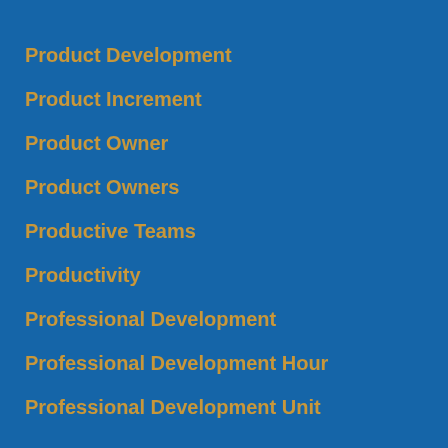Product Development
Product Increment
Product Owner
Product Owners
Productive Teams
Productivity
Professional Development
Professional Development Hour
Professional Development Unit